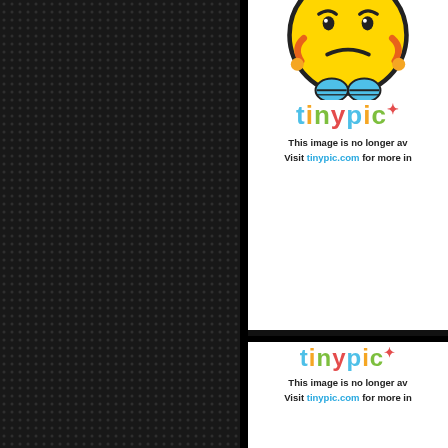[Figure (illustration): Dark textured left panel with diamond/dot grid pattern, black background]
[Figure (illustration): Tinypic placeholder card 1: sad emoji face and tinypic logo, text 'This image is no longer available. Visit tinypic.com for more information.']
[Figure (illustration): Tinypic placeholder card 2: sad emoji face and tinypic logo, text 'This image is no longer available. Visit tinypic.com for more information.']